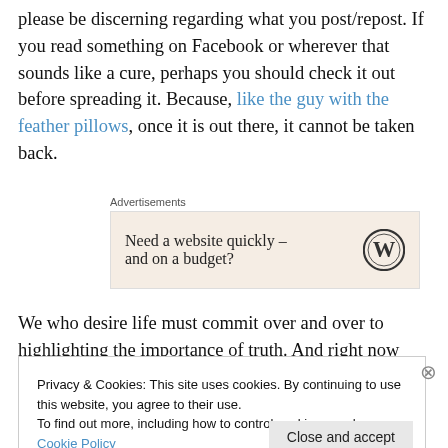please be discerning regarding what you post/repost. If you read something on Facebook or wherever that sounds like a cure, perhaps you should check it out before spreading it. Because, like the guy with the feather pillows, once it is out there, it cannot be taken back.
[Figure (other): Advertisement box: 'Need a website quickly – and on a budget?' with WordPress logo]
We who desire life must commit over and over to highlighting the importance of truth. And right now
Privacy & Cookies: This site uses cookies. By continuing to use this website, you agree to their use. To find out more, including how to control cookies, see here: Cookie Policy